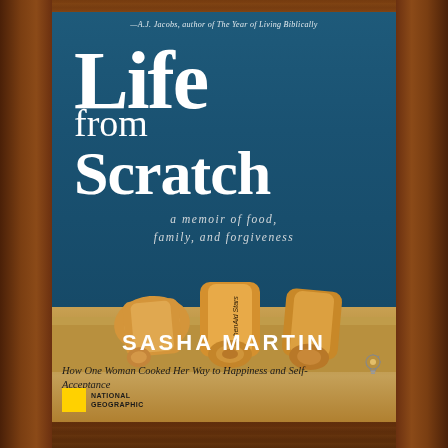[Figure (photo): Book cover of 'Life from Scratch: a memoir of food, family, and forgiveness' by Sasha Martin, published by National Geographic. The cover shows a blue background with large white serif title text, rolling pins at the bottom on a wooden cutting board surface. The book cover is framed by a dark wood-grain background. Subtitle tagline reads: 'How One Woman Cooked Her Way to Happiness and Self-Acceptance'. Blurb at top attributed to A.J. Jacobs, author of The Year of Living Biblically.]